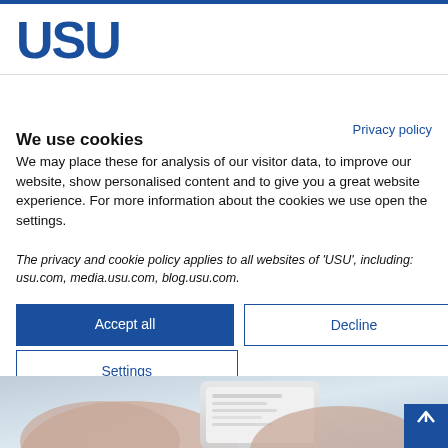USU
Privacy policy
We use cookies
We may place these for analysis of our visitor data, to improve our website, show personalised content and to give you a great website experience. For more information about the cookies we use open the settings.
The privacy and cookie policy applies to all websites of 'USU', including: usu.com, media.usu.com, blog.usu.com.
Accept all
Decline
Settings
[Figure (photo): Hands holding a smartphone, blurred background]